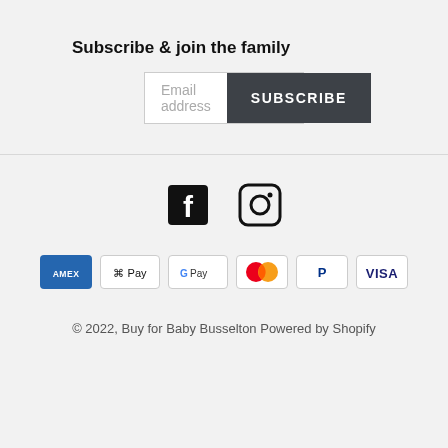Subscribe & join the family
Email address | SUBSCRIBE
[Figure (infographic): Facebook and Instagram social media icons side by side]
[Figure (infographic): Payment method icons: American Express, Apple Pay, Google Pay, Mastercard, PayPal, Visa]
© 2022, Buy for Baby Busselton Powered by Shopify